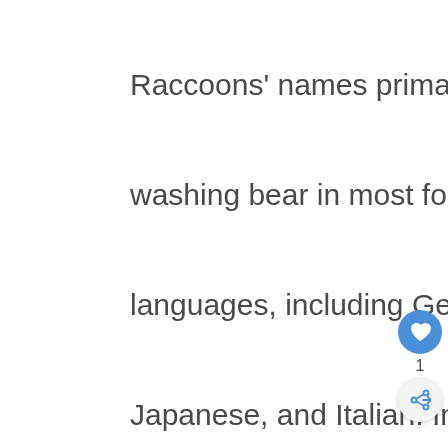Raccoons' names primarily translate to washing bear in most foreign languages, including German, Japanese, and Italian. In the 1930s, raccoons were introduced into Germany for fur production. They spread from there to Italy, Spain, Poland, and Japan, where they are bounding their ways through islands and waterways and